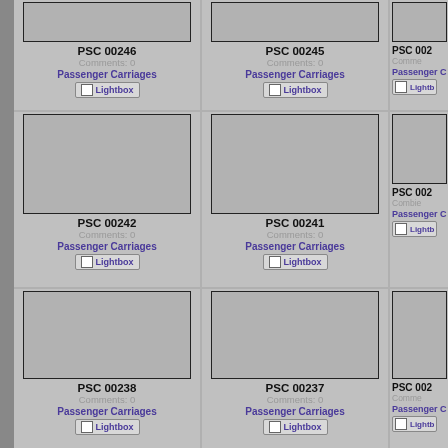[Figure (screenshot): Grid of image catalog entries showing PSC numbered items with Passenger Carriages category and Lightbox checkbox buttons. Partial top row shows PSC 00246, PSC 00245, PSC 00245 (partial). Second row shows PSC 00242, PSC 00241, partial right column. Third row shows PSC 00238, PSC 00237, partial right column.]